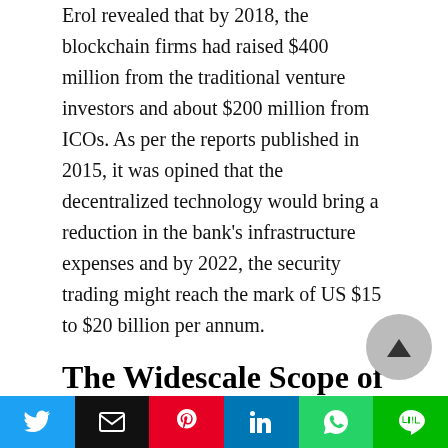Erol revealed that by 2018, the blockchain firms had raised $400 million from the traditional venture investors and about $200 million from ICOs. As per the reports published in 2015, it was opined that the decentralized technology would bring a reduction in the bank's infrastructure expenses and by 2022, the security trading might reach the mark of US $15 to $20 billion per annum.
The Widescale Scope of Blockchain In Finance Sector
Unlike its starting phase, when blockchain was seen synonymous with cryptocurrencies, today,